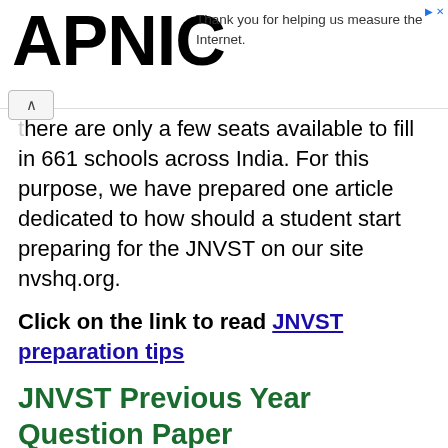APNIC — Thank you for helping us measure the Internet.
there are only a few seats available to fill in 661 schools across India. For this purpose, we have prepared one article dedicated to how should a student start preparing for the JNVST on our site nvshq.org.
Click on the link to read JNVST preparation tips
JNVST Previous Year Question Paper
As per our analysis, while doing the exam preparation, JNVST previous year's question papers are very important as each year's